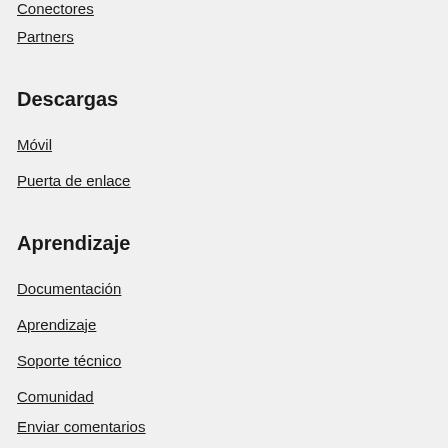Conectores
Partners
Descargas
Móvil
Puerta de enlace
Aprendizaje
Documentación
Aprendizaje
Soporte técnico
Comunidad
Enviar comentarios
Blog
Precios